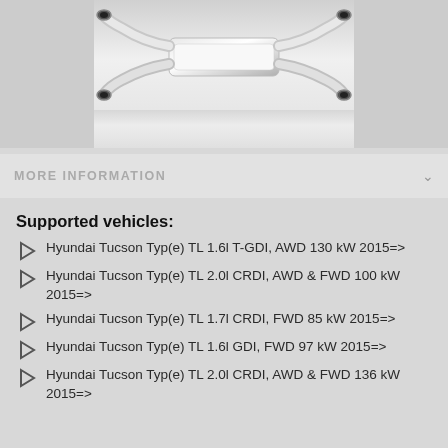[Figure (photo): Photo of a stainless steel exhaust system with quad pipes shown from rear, on a light/white background]
MORE INFORMATION
Supported vehicles:
Hyundai Tucson Typ(e) TL 1.6l T-GDI, AWD 130 kW 2015=>
Hyundai Tucson Typ(e) TL 2.0l CRDI, AWD & FWD 100 kW 2015=>
Hyundai Tucson Typ(e) TL 1.7l CRDI, FWD 85 kW 2015=>
Hyundai Tucson Typ(e) TL 1.6l GDI, FWD 97 kW 2015=>
Hyundai Tucson Typ(e) TL 2.0l CRDI, AWD & FWD 136 kW 2015=>